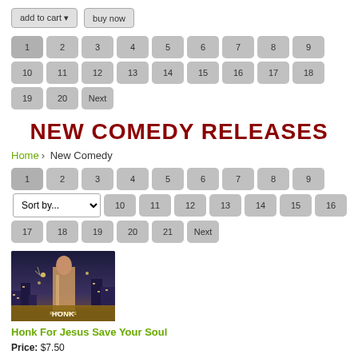add to cart  buy now
1 2 3 4 5 6 7 8 9 10 11 12 13 14 15 16 17 18 19 20 Next
NEW COMEDY RELEASES
Home > New Comedy
1 2 3 4 5 6 7 8 9 10 11 12 13 14 15 16 17 18 19 20 21 Next  Sort by...
[Figure (photo): Movie cover art for Honk For Jesus Save Your Soul]
Honk For Jesus Save Your Soul
Price: $7.50